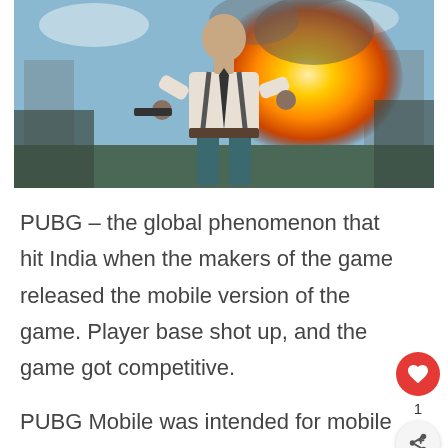[Figure (photo): PUBG Mobile game promotional image showing a character in a white shirt with suspenders holding a gun, standing in front of an explosion with fire and smoke in the background]
PUBG – the global phenomenon that hit India when the makers of the game released the mobile version of the game. Player base shot up, and the game got competitive.
PUBG Mobile was intended for mobile devices as evident in the name, but